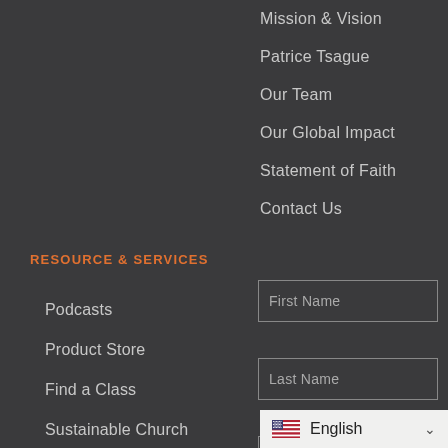Mission & Vision
Patrice Tsague
Our Team
Our Global Impact
Statement of Faith
Contact Us
RESOURCE & SERVICES
Podcasts
Product Store
Find a Class
Sustainable Church
Work with Nehemiah
First Name
Last Name
Email
English